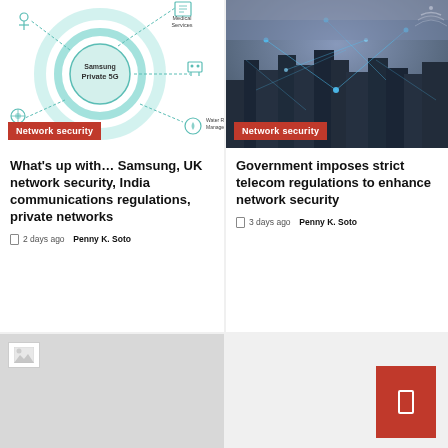[Figure (infographic): Samsung Private 5G network diagram showing circular rings around central Samsung Private 5G label, with dashed lines connecting to icons for Medical Services, robotic arm, and Water Resource Management]
What's up with… Samsung, UK network security, India communications regulations, private networks
2 days ago  Penny K. Soto
[Figure (photo): City skyline at night with digital network connection lines and glowing dots overlaid, representing telecom network connectivity]
Government imposes strict telecom regulations to enhance network security
3 days ago  Penny K. Soto
[Figure (photo): Partially loaded image (broken image placeholder) in gray rectangle at bottom left]